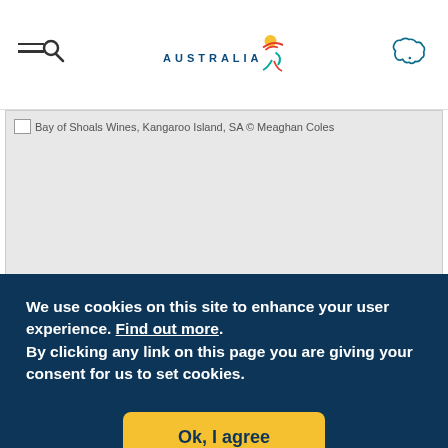Tourism Australia website header with menu icon, Australia logo, and map icon
[Figure (photo): Broken/loading image placeholder for Bay of Shoals Wines, Kangaroo Island, SA © Meaghan Coles]
Bay of Shoals Wines, Kangaroo Island, SA © Meaghan Coles
We use cookies on this site to enhance your user experience. Find out more. By clicking any link on this page you are giving your consent for us to set cookies.
Ok, I agree